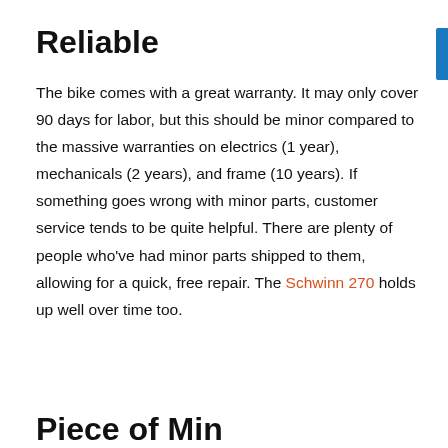Reliable
The bike comes with a great warranty. It may only cover 90 days for labor, but this should be minor compared to the massive warranties on electrics (1 year), mechanicals (2 years), and frame (10 years). If something goes wrong with minor parts, customer service tends to be quite helpful. There are plenty of people who've had minor parts shipped to them, allowing for a quick, free repair. The Schwinn 270 holds up well over time too.
Piece of Mind